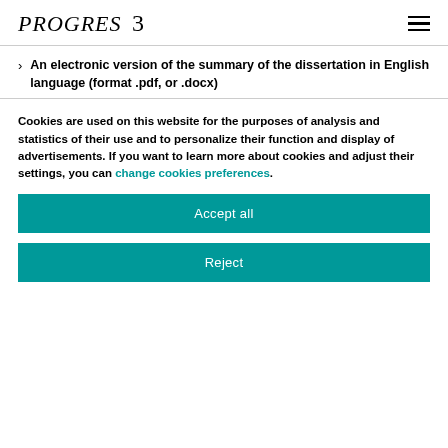PROGRES 3
An electronic version of the summary of the dissertation in English language (format .pdf, or .docx)
Cookies are used on this website for the purposes of analysis and statistics of their use and to personalize their function and display of advertisements. If you want to learn more about cookies and adjust their settings, you can change cookies preferences.
Accept all
Reject